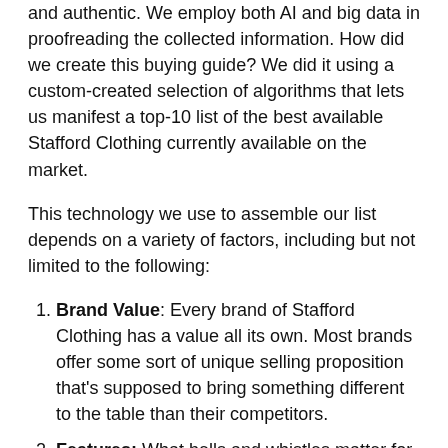and authentic. We employ both AI and big data in proofreading the collected information. How did we create this buying guide? We did it using a custom-created selection of algorithms that lets us manifest a top-10 list of the best available Stafford Clothing currently available on the market.
This technology we use to assemble our list depends on a variety of factors, including but not limited to the following:
Brand Value: Every brand of Stafford Clothing has a value all its own. Most brands offer some sort of unique selling proposition that's supposed to bring something different to the table than their competitors.
Features: What bells and whistles matter for an Stafford Clothing?